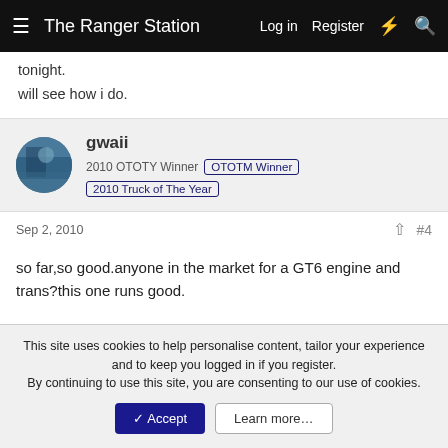The Ranger Station  Log in  Register
tonight.
will see how i do.
gwaii
2010 OTOTY Winner  OTOTM Winner  2010 Truck of The Year
Sep 2, 2010  #4
so far,so good.anyone in the market for a GT6 engine and trans?this one runs good.
[Figure (photo): Photo of a vehicle interior/garage scene with blue walls, showing the front of a truck being dismantled or worked on in what appears to be a shop or body work area.]
This site uses cookies to help personalise content, tailor your experience and to keep you logged in if you register.
By continuing to use this site, you are consenting to our use of cookies.